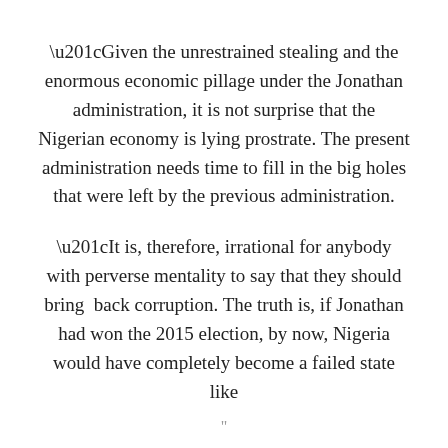“Given the unrestrained stealing and the enormous economic pillage under the Jonathan administration, it is not surprise that the Nigerian economy is lying prostrate. The present administration needs time to fill in the big holes that were left by the previous administration.
“It is, therefore, irrational for anybody with perverse mentality to say that they should bring  back corruption. The truth is, if Jonathan had won the 2015 election, by now, Nigeria would have completely become a failed state like